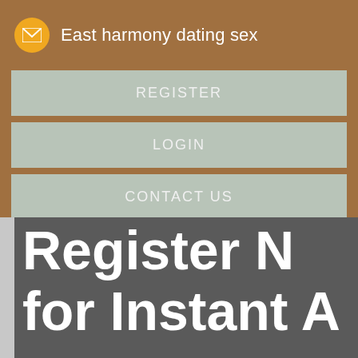East harmony dating sex
REGISTER
LOGIN
CONTACT US
Register N
for Instant A